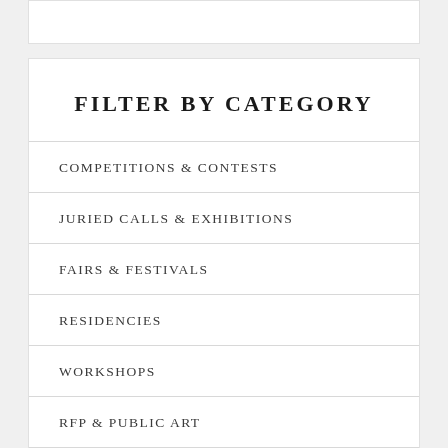FILTER BY CATEGORY
COMPETITIONS & CONTESTS
JURIED CALLS & EXHIBITIONS
FAIRS & FESTIVALS
RESIDENCIES
WORKSHOPS
RFP & PUBLIC ART
ONLINE ONLY
OTHER